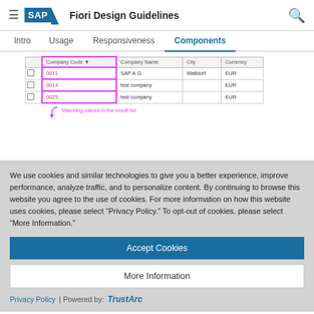SAP Fiori Design Guidelines
Intro  Usage  Responsiveness  Components
[Figure (screenshot): A table screenshot showing Company Code, Company Name, City, Currency columns with rows 0011 SAP A.G. Walldorf EUR, 0014 test company EUR, 0025 test company EUR. Company Code column highlighted with pink border. Label reads: Matching values in the result list]
We use cookies and similar technologies to give you a better experience, improve performance, analyze traffic, and to personalize content. By continuing to browse this website you agree to the use of cookies. For more information on how this website uses cookies, please select “Privacy Policy.” To opt-out of cookies, please select “More Information.”
Accept Cookies
More Information
Privacy Policy | Powered by:  TrustArc
Basic search note or the table help: Among the results discover the entries...